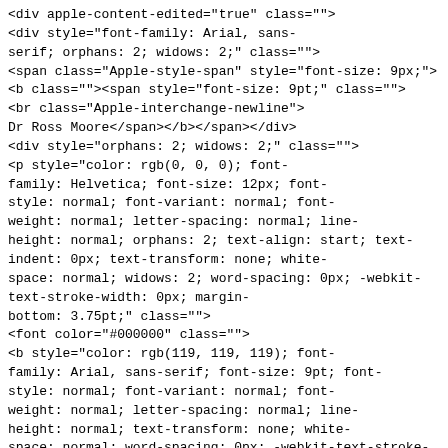<div apple-content-edited="true" class="">
<div style="font-family: Arial, sans-serif; orphans: 2; widows: 2;" class="">
<span class="Apple-style-span" style="font-size: 9px;">
<b class=""><span style="font-size: 9pt;" class="">
<br class="Apple-interchange-newline">
Dr Ross Moore</span></b></span></div>
<div style="orphans: 2; widows: 2;" class="">
<p style="color: rgb(0, 0, 0); font-family: Helvetica; font-size: 12px; font-style: normal; font-variant: normal; font-weight: normal; letter-spacing: normal; line-height: normal; orphans: 2; text-align: start; text-indent: 0px; text-transform: none; white-space: normal; widows: 2; word-spacing: 0px; -webkit-text-stroke-width: 0px; margin-bottom: 3.75pt;" class="">
<font color="#000000" class="">
<b style="color: rgb(119, 119, 119); font-family: Arial, sans-serif; font-size: 9pt; font-style: normal; font-variant: normal; font-weight: normal; letter-spacing: normal; line-height: normal; text-transform: none; white-space: normal; word-spacing: 0px; -webkit-text-stroke-width: 0px;" class="">Mathematics
 Dept </b><b style="color: rgb(119, 119, 119); font-family: Arial, sans-serif; font-size: 9pt; font-style: normal; font-variant: normal; font-weight: normal; letter-spacing: normal; line-height: normal; text-transform: none; white-space: